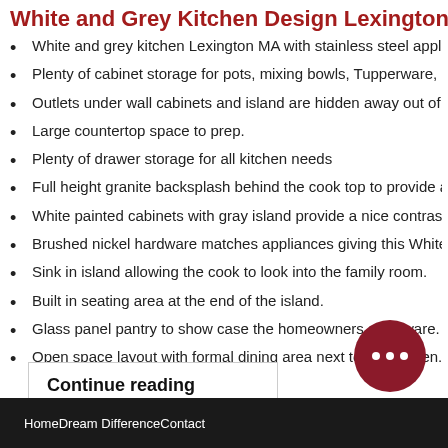White and Grey Kitchen Design Lexington MA
White and grey kitchen Lexington MA with stainless steel applian...
Plenty of cabinet storage for pots, mixing bowls, Tupperware, pa...
Outlets under wall cabinets and island are hidden away out of vie...
Large countertop space to prep.
Plenty of drawer storage for all kitchen needs
Full height granite backsplash behind the cook top to provide a n...
White painted cabinets with gray island provide a nice contrast w...
Brushed nickel hardware matches appliances giving this White a...
Sink in island allowing the cook to look into the family room.
Built in seating area at the end of the island.
Glass panel pantry to show case the homeowners glassware.
Open space layout with formal dining area next to the kitchen.
Continue reading
HomeDream DifferenceContact